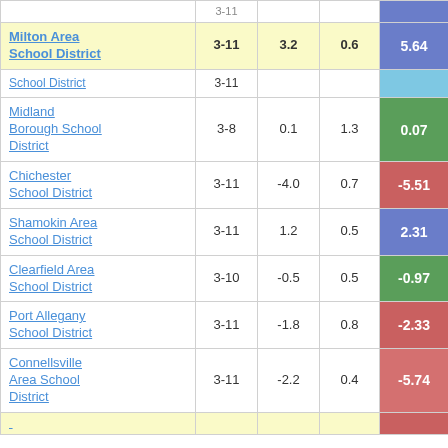| School District | Grades | Col3 | Col4 | Score |
| --- | --- | --- | --- | --- |
| [partial top row] | 3-11 | ~ | ~ | ~ |
| Milton Area School District | 3-11 | 3.2 | 0.6 | 5.64 |
| School District (partial) | 3-11 | ~ | ~ | ~ |
| Midland Borough School District | 3-8 | 0.1 | 1.3 | 0.07 |
| Chichester School District | 3-11 | -4.0 | 0.7 | -5.51 |
| Shamokin Area School District | 3-11 | 1.2 | 0.5 | 2.31 |
| Clearfield Area School District | 3-10 | -0.5 | 0.5 | -0.97 |
| Port Allegany School District | 3-11 | -1.8 | 0.8 | -2.33 |
| Connellsville Area School District | 3-11 | -2.2 | 0.4 | -5.74 |
| [partial bottom row] |  |  |  |  |